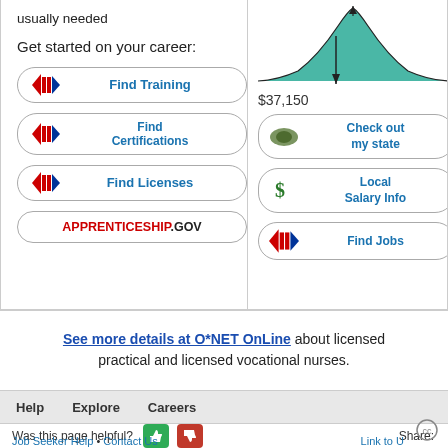usually needed
Get started on your career:
Find Training
Find Certifications
Find Licenses
APPRENTICESHIP.GOV
[Figure (continuous-plot): Bell curve salary distribution chart showing median salary of $37,150]
$37,150
Check out my state
Local Salary Info
Find Jobs
See more details at O*NET OnLine about licensed practical and licensed vocational nurses.
Help  Explore  Careers
Was this page helpful?
Job Seeker Help • Contact Us
Share:
Link to U